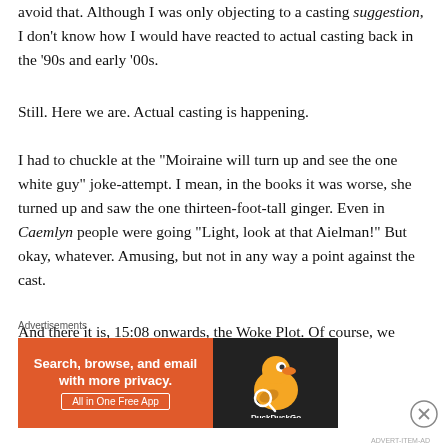avoid that. Although I was only objecting to a casting suggestion, I don't know how I would have reacted to actual casting back in the ’90s and early ’00s.
Still. Here we are. Actual casting is happening.
I had to chuckle at the “Moiraine will turn up and see the one white guy” joke-attempt. I mean, in the books it was worse, she turned up and saw the one thirteen-foot-tall ginger. Even in Caemlyn people were going “Light, look at that Aielman!” But okay, whatever. Amusing, but not in any way a point against the cast.
And there it is, 15:08 onwards, the Woke Plot. Of course, we knew this was coming.
Advertisements
[Figure (other): DuckDuckGo advertisement banner: orange left panel with text 'Search, browse, and email with more privacy. All in One Free App', dark right panel with DuckDuckGo logo duck icon and brand name.]